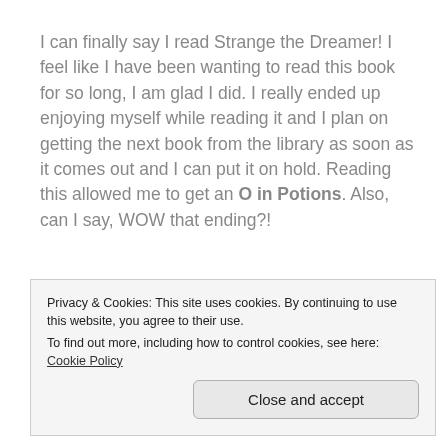I can finally say I read Strange the Dreamer! I feel like I have been wanting to read this book for so long, I am glad I did. I really ended up enjoying myself while reading it and I plan on getting the next book from the library as soon as it comes out and I can put it on hold. Reading this allowed me to get an O in Potions. Also, can I say, WOW that ending?!
Beasts of Extraordinary
Privacy & Cookies: This site uses cookies. By continuing to use this website, you agree to their use. To find out more, including how to control cookies, see here: Cookie Policy